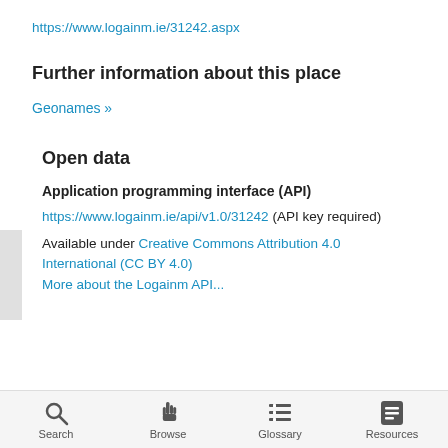https://www.logainm.ie/31242.aspx
Further information about this place
Geonames »
Open data
Application programming interface (API)
https://www.logainm.ie/api/v1.0/31242 (API key required)
Available under Creative Commons Attribution 4.0 International (CC BY 4.0)
Search   Browse   Glossary   Resources